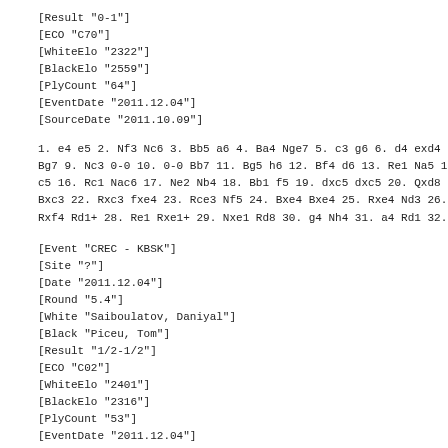[Result "0-1"]
[ECO "C70"]
[WhiteElo "2322"]
[BlackElo "2559"]
[PlyCount "64"]
[EventDate "2011.12.04"]
[SourceDate "2011.10.09"]
1. e4 e5 2. Nf3 Nc6 3. Bb5 a6 4. Ba4 Nge7 5. c3 g6 6. d4 exd4 Bg7 9. Nc3 0-0 10. 0-0 Bb7 11. Bg5 h6 12. Bf4 d6 13. Re1 Na5 1 c5 16. Rc1 Nac6 17. Ne2 Nb4 18. Bb1 f5 19. dxc5 dxc5 20. Qxd8 Bxc3 22. Rxc3 fxe4 23. Rce3 Nf5 24. Bxe4 Bxe4 25. Rxe4 Nd3 26. Rxf4 Rd1+ 28. Re1 Rxe1+ 29. Nxe1 Rd8 30. g4 Nh4 31. a4 Rd1 32.
[Event "CREC - KBSK"]
[Site "?"]
[Date "2011.12.04"]
[Round "5.4"]
[White "Saiboulatov, Daniyal"]
[Black "Piceu, Tom"]
[Result "1/2-1/2"]
[ECO "C02"]
[WhiteElo "2401"]
[BlackElo "2316"]
[PlyCount "53"]
[EventDate "2011.12.04"]
[SourceDate "2011.10.09"]
1. e4 c5 2. c3 e6 3. d4 d5 4. e5 Nc6 5. Nf3 Qb6 6. Be2 cxd4 7. Nf5 9. Bxf5 exf5 10. Nc3 Be6 11. 0-0 Be7 12. h4 h6 13. Ne2 0-0 h5 Qa6 16. a3 Na5 17. b4 Nc4 18. Rb3 Nb6 19. Ne1 Bd7 20. Rg3 B